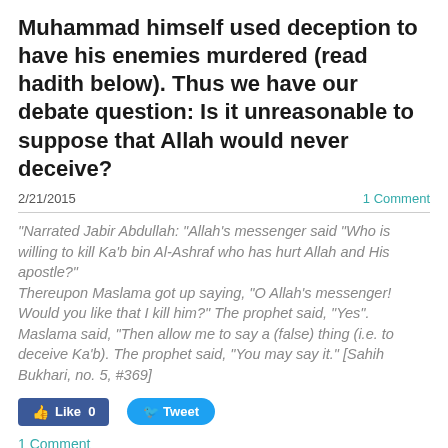Muhammad himself used deception to have his enemies murdered (read hadith below). Thus we have our debate question:  Is it unreasonable to suppose that Allah would never deceive?
2/21/2015
1 Comment
"Narrated Jabir Abdullah: "Allah's messenger said "Who is willing to kill Ka'b bin Al-Ashraf who has hurt Allah and His apostle?" Thereupon Maslama got up saying, "O Allah's messenger! Would you like that I kill him?" The prophet said, "Yes". Maslama said, "Then allow me to say a (false) thing (i.e. to deceive Ka'b). The prophet said, "You may say it." [Sahih Bukhari, no. 5, #369]
Like 0
Tweet
1 Comment